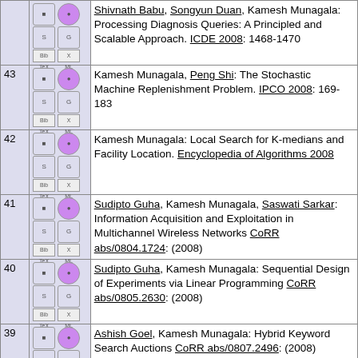Shivnath Baba, Songyun Duan, Kamesh Munagala: Processing Diagnosis Queries: A Principled and Scalable Approach. ICDE 2008: 1468-1470
43 Kamesh Munagala, Peng Shi: The Stochastic Machine Replenishment Problem. IPCO 2008: 169-183
42 Kamesh Munagala: Local Search for K-medians and Facility Location. Encyclopedia of Algorithms 2008
41 Sudipto Guha, Kamesh Munagala, Saswati Sarkar: Information Acquisition and Exploitation in Multichannel Wireless Networks CoRR abs/0804.1724: (2008)
40 Sudipto Guha, Kamesh Munagala: Sequential Design of Experiments via Linear Programming CoRR abs/0805.2630: (2008)
39 Ashish Goel, Kamesh Munagala: Hybrid Keyword Search Auctions CoRR abs/0807.2496: (2008)
38 Sudipto Guha, Kamesh Munagala: Adaptive Uncertainty Resolution in Bayesian Combinatorial Optimization Problems CoRR abs/0812.1012: (2008)